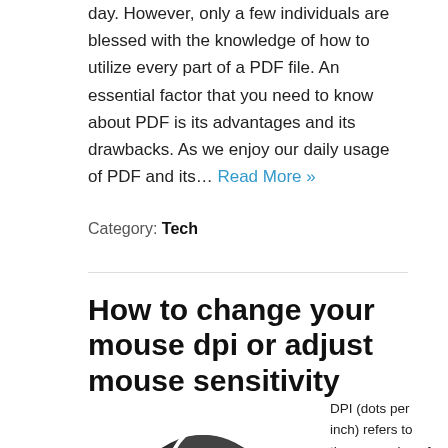day. However, only a few individuals are blessed with the knowledge of how to utilize every part of a PDF file. An essential factor that you need to know about PDF is its advantages and its drawbacks. As we enjoy our daily usage of PDF and its… Read More »
Category: Tech
How to change your mouse dpi or adjust mouse sensitivity
[Figure (photo): Close-up photo of a gaming mouse showing the DPI button/sensor area with a red LED, overlaid with a circular magnifying zoom on the sensor.]
DPI (dots per inch) refers to the measuring of your mouse sensitivity, and for a gamer and/or photo